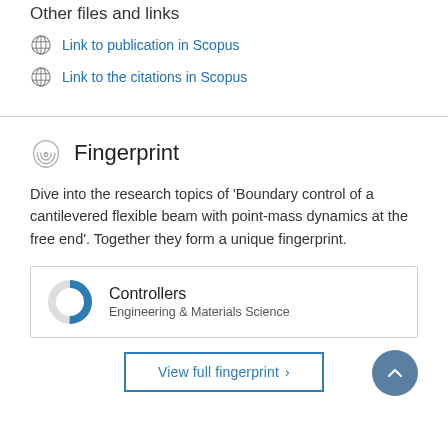Other files and links
Link to publication in Scopus
Link to the citations in Scopus
Fingerprint
Dive into the research topics of 'Boundary control of a cantilevered flexible beam with point-mass dynamics at the free end'. Together they form a unique fingerprint.
Controllers
Engineering & Materials Science
View full fingerprint